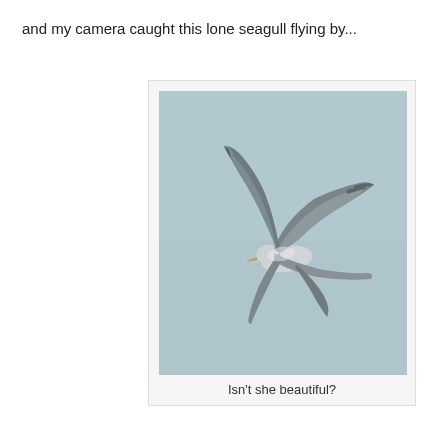and my camera caught this lone seagull flying by...
[Figure (photo): A lone seagull photographed from below against a pale blue-grey sky, wings spread wide in flight, displayed as a polaroid-style photo with white border.]
Isn't she beautiful?